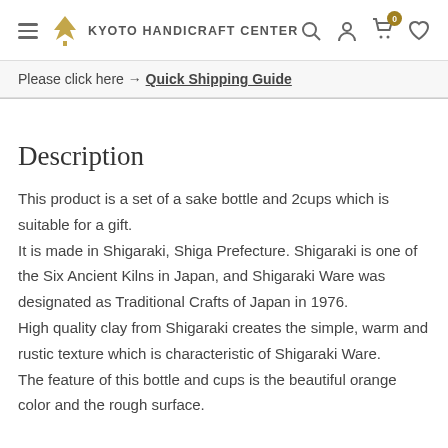Kyoto Handicraft Center
Please click here → Quick Shipping Guide
Description
This product is a set of a sake bottle and 2cups which is suitable for a gift.
It is made in Shigaraki, Shiga Prefecture. Shigaraki is one of the Six Ancient Kilns in Japan, and Shigaraki Ware was designated as Traditional Crafts of Japan in 1976.
High quality clay from Shigaraki creates the simple, warm and rustic texture which is characteristic of Shigaraki Ware.
The feature of this bottle and cups is the beautiful orange color and the rough surface.